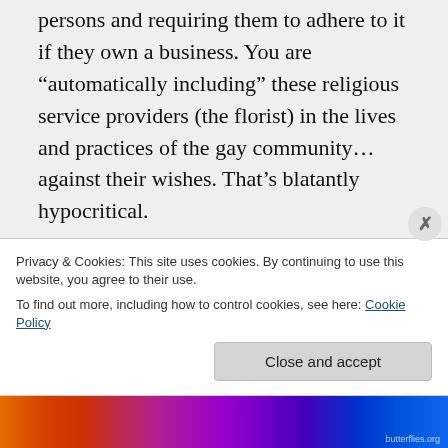persons and requiring them to adhere to it if they own a business. You are “automatically including” these religious service providers (the florist) in the lives and practices of the gay community… against their wishes. That’s blatantly hypocritical.

To your second point: also flawed logic. Just because a providing fl...
Privacy & Cookies: This site uses cookies. By continuing to use this website, you agree to their use.
To find out more, including how to control cookies, see here: Cookie Policy
Close and accept